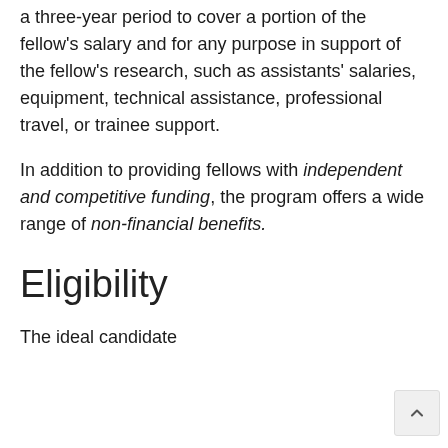a three-year period to cover a portion of the fellow's salary and for any purpose in support of the fellow's research, such as assistants' salaries, equipment, technical assistance, professional travel, or trainee support.
In addition to providing fellows with independent and competitive funding, the program offers a wide range of non-financial benefits.
Eligibility
The ideal candidate